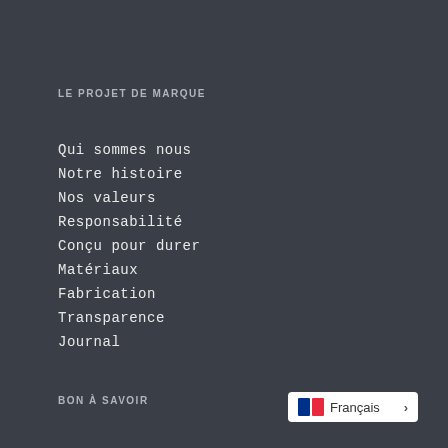LE PROJET DE MARQUE
Qui sommes nous
Notre histoire
Nos valeurs
Responsabilité
Conçu pour durer
Matériaux
Fabrication
Transparence
Journal
BON À SAVOIR
[Figure (other): Language selector button showing French flag and Français label with arrow]